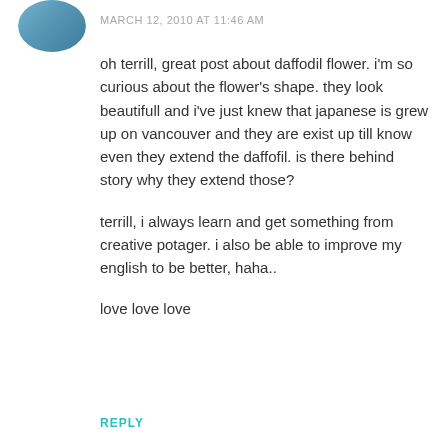[Figure (photo): Small circular avatar photo of a person, partially visible at top-left corner]
MARCH 12, 2010 AT 11:46 AM
oh terrill, great post about daffodil flower. i'm so curious about the flower's shape. they look beautifull and i've just knew that japanese is grew up on vancouver and they are exist up till know even they extend the daffofil. is there behind story why they extend those?
terrill, i always learn and get something from creative potager. i also be able to improve my english to be better, haha..
love love love
REPLY